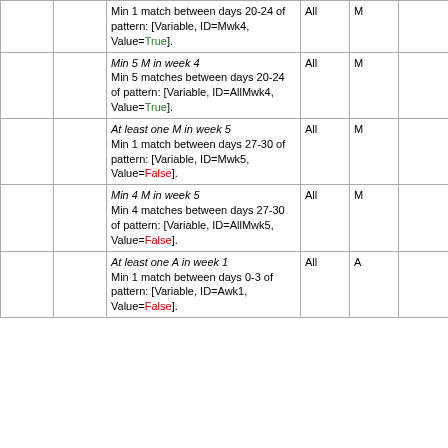|  |  | Min 1 match between days 20-24 of pattern: [Variable, ID=Mwk4, Value=True]. | All | M |  |  |
|  |  | Min 5 M in week 4
Min 5 matches between days 20-24 of pattern: [Variable, ID=AllMwk4, Value=True]. | All | M |  |  |
|  |  | At least one M in week 5
Min 1 match between days 27-30 of pattern: [Variable, ID=Mwk5, Value=False]. | All | M |  |  |
|  |  | Min 4 M in week 5
Min 4 matches between days 27-30 of pattern: [Variable, ID=AllMwk5, Value=False]. | All | M |  |  |
|  |  | At least one A in week 1
Min 1 match between days 0-3 of pattern: [Variable, ID=Awk1, Value=False]. | All | A |  |  |